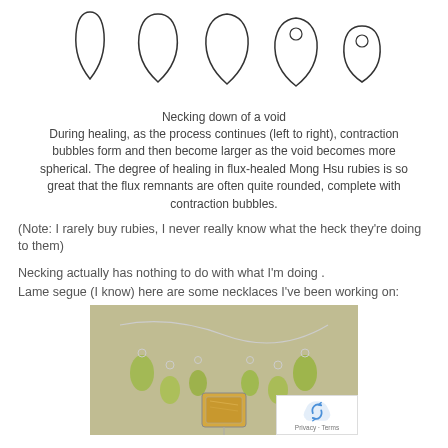[Figure (illustration): Five outline drawings showing progressive necking down of a void from elongated teardrop shapes to more rounded/spherical shapes, left to right]
Necking down of a void
During healing, as the process continues (left to right), contraction bubbles form and then become larger as the void becomes more spherical. The degree of healing in flux-healed Mong Hsu rubies is so great that the flux remnants are often quite rounded, complete with contraction bubbles.
(Note: I rarely buy rubies, I never really know what the heck they're doing to them)
Necking actually has nothing to do with what I'm doing .
Lame segue (I know) here are some necklaces I've been working on:
[Figure (photo): Photo of a necklace with green stone pendants and a central rectangular amber/citrine stone in silver setting]